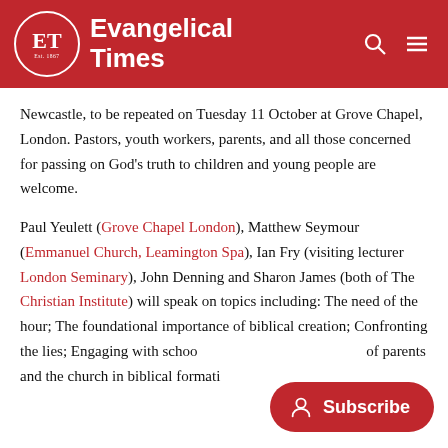Evangelical Times
Newcastle, to be repeated on Tuesday 11 October at Grove Chapel, London. Pastors, youth workers, parents, and all those concerned for passing on God's truth to children and young people are welcome.
Paul Yeulett (Grove Chapel London), Matthew Seymour (Emmanuel Church, Leamington Spa), Ian Fry (visiting lecturer London Seminary), John Denning and Sharon James (both of The Christian Institute) will speak on topics including: The need of the hour; The foundational importance of biblical creation; Confronting the lies; Engaging with schools; of parents and the church in biblical formation